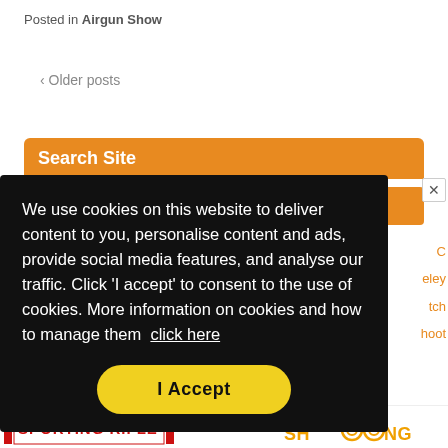Posted in Airgun Show
‹ Older posts
Search Site
We use cookies on this website to deliver content to you, personalise content and ads, provide social media features, and analyse our traffic. Click 'I accept' to consent to the use of cookies. More information on cookies and how to manage them  click here
I Accept
[Figure (screenshot): Bottom magazine advertisement strip showing Sporting Rifle and Shooting magazine logos]